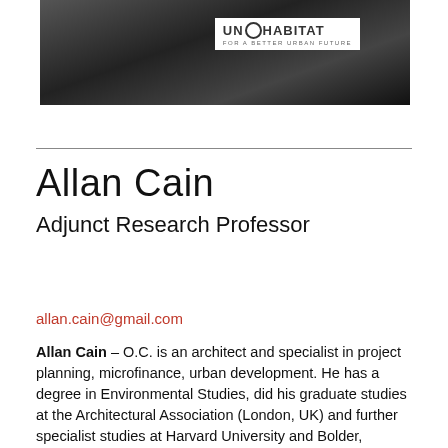[Figure (photo): Black and white photo of a person seated at a conference table with a UN-HABITAT sign (For a Better Urban Future) visible in the foreground.]
Allan Cain
Adjunct Research Professor
allan.cain@gmail.com
Allan Cain – O.C. is an architect and specialist in project planning, microfinance, urban development. He has a degree in Environmental Studies, did his graduate studies at the Architectural Association (London, UK) and further specialist studies at Harvard University and Bolder, Colorado (in Microfinance and